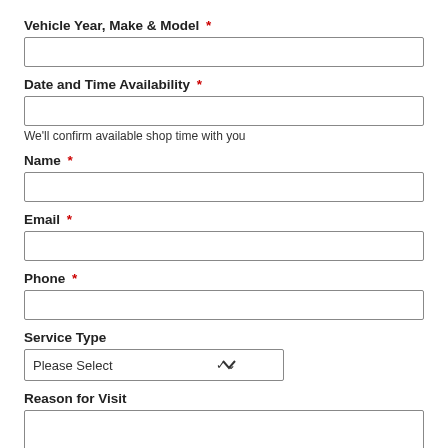Vehicle Year, Make & Model *
Date and Time Availability *
We'll confirm available shop time with you
Name *
Email *
Phone *
Service Type
Please Select
Reason for Visit